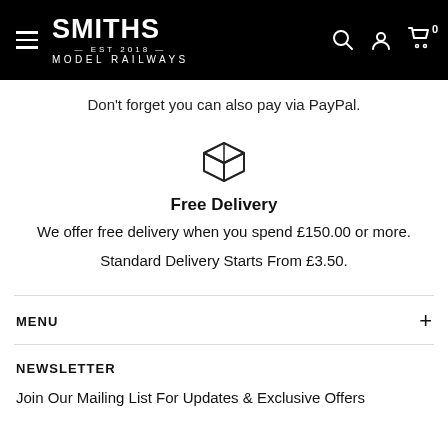Smiths Model Railways — navigation header
Don't forget you can also pay via PayPal.
[Figure (illustration): Box/package icon outline, representing delivery]
Free Delivery
We offer free delivery when you spend £150.00 or more.
Standard Delivery Starts From £3.50.
MENU
NEWSLETTER
Join Our Mailing List For Updates & Exclusive Offers